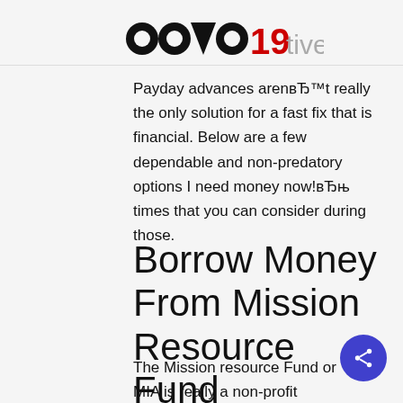COVID19 tives?
Payday advances arenвЂ™t really the only solution for a fast fix that is financial. Below are a few dependable and non-predatory options I need money now!вЂњ times that you can consider during those.
Borrow Money From Mission Resource Fund
The Mission resource Fund or MIA is really a non-profit organization based in san